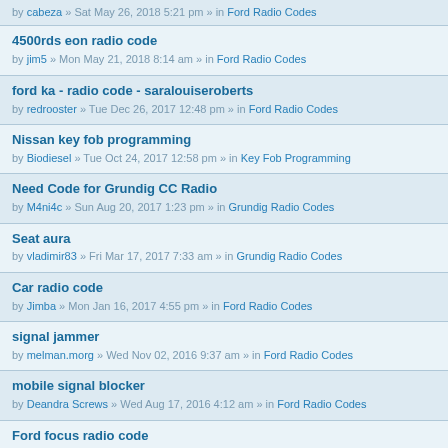by cabeza » Sat May 26, 2018 5:21 pm » in Ford Radio Codes
4500rds eon radio code
by jim5 » Mon May 21, 2018 8:14 am » in Ford Radio Codes
ford ka - radio code - saralouiseroberts
by redrooster » Tue Dec 26, 2017 12:48 pm » in Ford Radio Codes
Nissan key fob programming
by Biodiesel » Tue Oct 24, 2017 12:58 pm » in Key Fob Programming
Need Code for Grundig CC Radio
by M4ni4c » Sun Aug 20, 2017 1:23 pm » in Grundig Radio Codes
Seat aura
by vladimir83 » Fri Mar 17, 2017 7:33 am » in Grundig Radio Codes
Car radio code
by Jimba » Mon Jan 16, 2017 4:55 pm » in Ford Radio Codes
signal jammer
by melman.morg » Wed Nov 02, 2016 9:37 am » in Ford Radio Codes
mobile signal blocker
by Deandra Screws » Wed Aug 17, 2016 4:12 am » in Ford Radio Codes
Ford focus radio code
by Palms » Sat Jul 02, 2016 10:21 am » in Ford Radio Codes
Radio code
by Gordon1400 » Sat Jun 04, 2016 4:50 am » in Ford Radio Codes
With the mage, we adopted diplomacy up that ambrosial